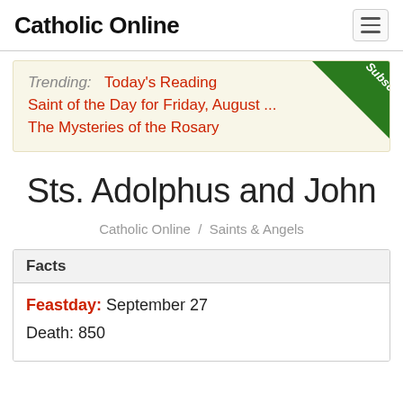Catholic Online
Trending: Today's Reading
Saint of the Day for Friday, August ...
The Mysteries of the Rosary
Sts. Adolphus and John
Catholic Online / Saints & Angels
Facts
Feastday: September 27
Death: 850